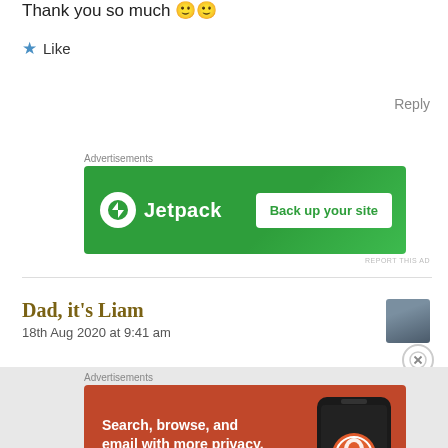Thank you so much 🙂🙂
★ Like
Reply
Advertisements
[Figure (screenshot): Jetpack advertisement banner: green background with Jetpack logo and 'Back up your site' button]
REPORT THIS AD
Dad, it's Liam
18th Aug 2020 at 9:41 am
Advertisements
[Figure (screenshot): DuckDuckGo advertisement: orange/red background with text 'Search, browse, and email with more privacy. All in One Free App' and DuckDuckGo logo with phone image]
REPORT THIS AD